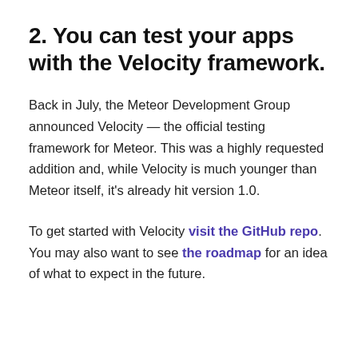2. You can test your apps with the Velocity framework.
Back in July, the Meteor Development Group announced Velocity — the official testing framework for Meteor. This was a highly requested addition and, while Velocity is much younger than Meteor itself, it's already hit version 1.0.
To get started with Velocity visit the GitHub repo. You may also want to see the roadmap for an idea of what to expect in the future.